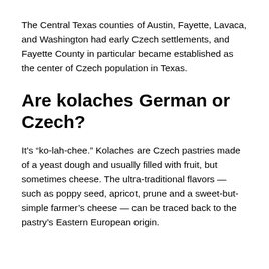The Central Texas counties of Austin, Fayette, Lavaca, and Washington had early Czech settlements, and Fayette County in particular became established as the center of Czech population in Texas.
Are kolaches German or Czech?
It's “ko-lah-chee.” Kolaches are Czech pastries made of a yeast dough and usually filled with fruit, but sometimes cheese. The ultra-traditional flavors — such as poppy seed, apricot, prune and a sweet-but-simple farmer’s cheese — can be traced back to the pastry’s Eastern European origin.